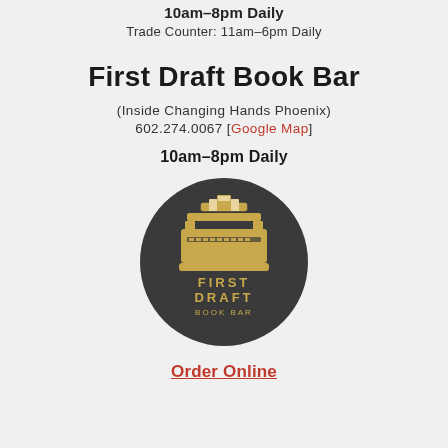10am–8pm Daily
Trade Counter: 11am–6pm Daily
First Draft Book Bar
(Inside Changing Hands Phoenix)
602.274.0067 [Google Map]
10am–8pm Daily
[Figure (logo): First Draft Book Bar circular logo — dark charcoal circle with a gold typewriter illustration and the text FIRST DRAFT BOOK BAR in gold letters]
Order Online